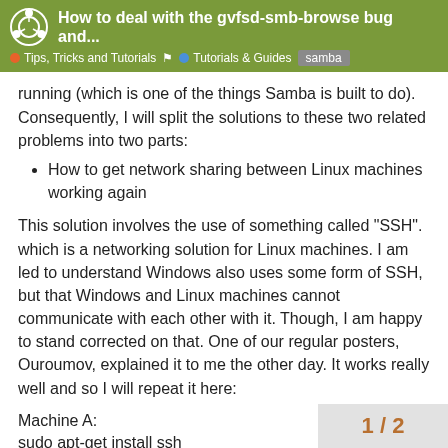How to deal with the gvfsd-smb-browse bug and... | Tips, Tricks and Tutorials | Tutorials & Guides | samba
running (which is one of the things Samba is built to do). Consequently, I will split the solutions to these two related problems into two parts:
How to get network sharing between Linux machines working again
This solution involves the use of something called "SSH". which is a networking solution for Linux machines. I am led to understand Windows also uses some form of SSH, but that Windows and Linux machines cannot communicate with each other with it. Though, I am happy to stand corrected on that. One of our regular posters, Ouroumov, explained it to me the other day. It works really well and so I will repeat it here:
Machine A:
sudo apt-get install ssh
Machine B:
sudo apt-get install install ssh
1 / 2